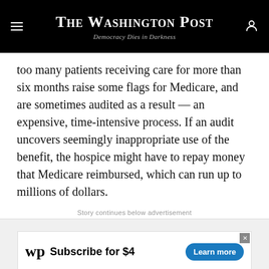The Washington Post — Democracy Dies in Darkness
too many patients receiving care for more than six months raise some flags for Medicare, and are sometimes audited as a result — an expensive, time-intensive process. If an audit uncovers seemingly inappropriate use of the benefit, the hospice might have to repay money that Medicare reimbursed, which can run up to millions of dollars.
Story continues below advertisement
[Figure (other): Advertisement banner: Washington Post logo with text 'Subscribe for $4' and 'Learn more' button]